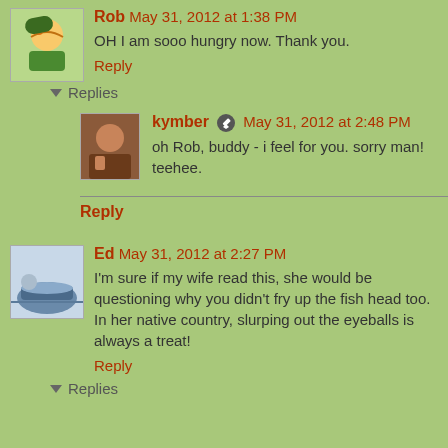Rob May 31, 2012 at 1:38 PM
OH I am sooo hungry now. Thank you.
Reply
Replies
kymber May 31, 2012 at 2:48 PM
oh Rob, buddy - i feel for you. sorry man! teehee.
Reply
Ed May 31, 2012 at 2:27 PM
I'm sure if my wife read this, she would be questioning why you didn't fry up the fish head too. In her native country, slurping out the eyeballs is always a treat!
Reply
Replies